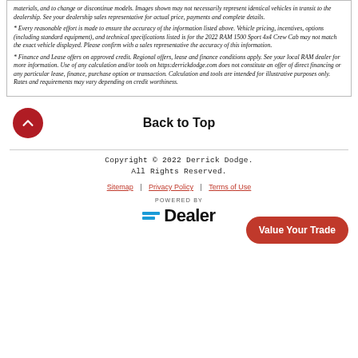materials, and to change or discontinue models. Images shown may not necessarily represent identical vehicles in transit to the dealership. See your dealership sales representative for actual price, payments and complete details.
* Every reasonable effort is made to ensure the accuracy of the information listed above. Vehicle pricing, incentives, options (including standard equipment), and technical specifications listed is for the 2022 RAM 1500 Sport 4x4 Crew Cab may not match the exact vehicle displayed. Please confirm with a sales representative the accuracy of this information.
* Finance and Lease offers on approved credit. Regional offers, lease and finance conditions apply. See your local RAM dealer for more information. Use of any calculation and/or tools on https:derrickdodge.com does not constitute an offer of direct financing or any particular lease, finance, purchase option or transaction. Calculation and tools are intended for illustrative purposes only. Rates and requirements may vary depending on credit worthiness.
Back to Top
Copyright © 2022 Derrick Dodge. All Rights Reserved.
Sitemap | Privacy Policy | Terms of Use
[Figure (logo): POWERED BY =Dealer logo with blue horizontal bars and bold Dealer text]
Value Your Trade